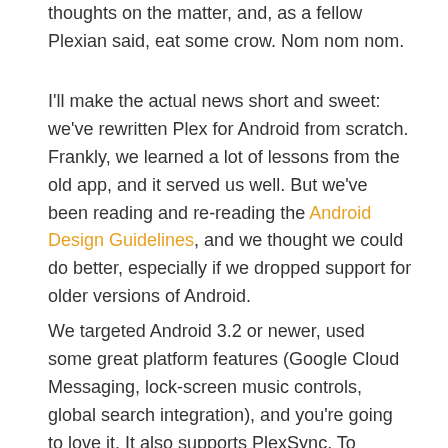thoughts on the matter, and, as a fellow Plexian said, eat some crow. Nom nom nom.
I'll make the actual news short and sweet: we've rewritten Plex for Android from scratch. Frankly, we learned a lot of lessons from the old app, and it served us well. But we've been reading and re-reading the Android Design Guidelines, and we thought we could do better, especially if we dropped support for older versions of Android.
We targeted Android 3.2 or newer, used some great platform features (Google Cloud Messaging, lock-screen music controls, global search integration), and you're going to love it. It also supports PlexSync. To everyone who has been patiently waiting, I apologize for the delay, but it will have been worth it. The app is fast, smooth, and beautiful. It uses paging and infinite scrolling and network data compression, which means access to giant libraries is super fast. It supports the same rich filters